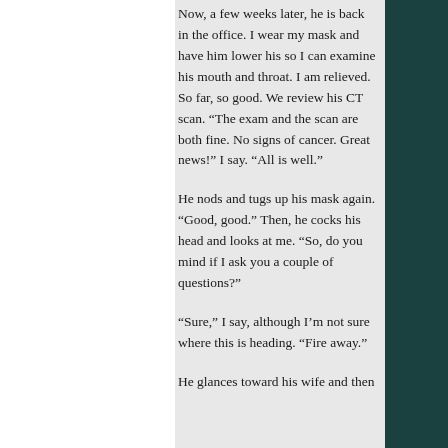Now, a few weeks later, he is back in the office. I wear my mask and have him lower his so I can examine his mouth and throat. I am relieved. So far, so good. We review his CT scan. “The exam and the scan are both fine. No signs of cancer. Great news!” I say. “All is well.”
He nods and tugs up his mask again. “Good, good.” Then, he cocks his head and looks at me. “So, do you mind if I ask you a couple of questions?”
“Sure,” I say, although I’m not sure where this is heading. “Fire away.”
He glances toward his wife and then